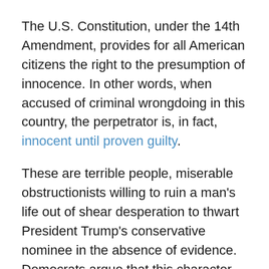The U.S. Constitution, under the 14th Amendment, provides for all American citizens the right to the presumption of innocence. In other words, when accused of criminal wrongdoing in this country, the perpetrator is, in fact, innocent until proven guilty.
These are terrible people, miserable obstructionists willing to ruin a man's life out of shear desperation to thwart President Trump's conservative nominee in the absence of evidence. Democrats argue that this character assassination is an apolitical stand to uncover truth and defend the rights of women, but the evidence indicates otherwise.
Senator Elizabeth Warren (D-MA) wrote in a fundraising email:
"[N]ow we're learning new information about a sexual assault